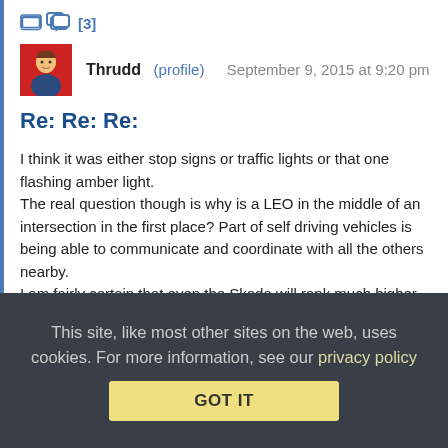[3]
Thrudd (profile)   September 9, 2015 at 9:20 pm
Re: Re: Re:
I think it was either stop signs or traffic lights or that one flashing amber light.
The real question though is why is a LEO in the middle of an intersection in the first place? Part of self driving vehicles is being able to communicate and coordinate with all the others nearby.
I am fairly certain that even the Skoda will rank much higher on the intelligence and reaction times than some meat sack standing on a paint bucket.
This site, like most other sites on the web, uses cookies. For more information, see our privacy policy
GOT IT